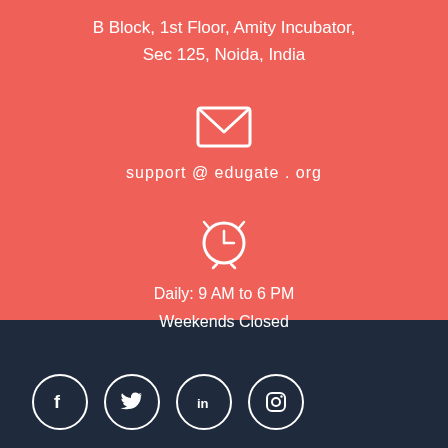B Block, 1st Floor, Amity Incubator,
Sec 125, Noida, India
[Figure (infographic): Email envelope icon (white outline) on red background]
support @ edugate . org
[Figure (infographic): Alarm clock icon (white outline) on red background]
Daily: 9 AM to 6 PM
Weekends Closed
[Figure (infographic): Four social media icons in white circles on dark navy background: Facebook, Twitter, LinkedIn, Instagram]